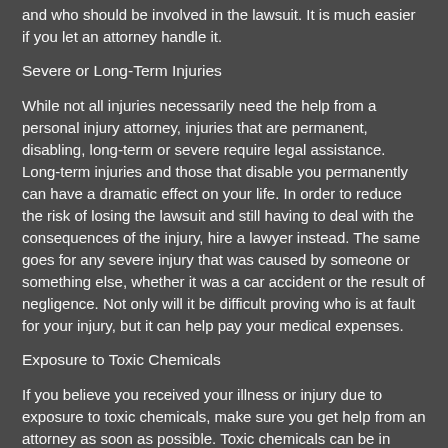and who should be involved in the lawsuit. It is much easier if you let an attorney handle it.
Severe or Long-Term Injuries
While not all injuries necessarily need the help from a personal injury attorney, injuries that are permanent, disabling, long-term or severe require legal assistance. Long-term injuries and those that disable you permanently can have a dramatic effect on your life. In order to reduce the risk of losing the lawsuit and still having to deal with the consequences of the injury, hire a lawyer instead. The same goes for any severe injury that was caused by someone or something else, whether it was a car accident or the result of negligence. Not only will it be difficult proving who is at fault for your injury, but it can help pay your medical expenses.
Exposure to Toxic Chemicals
If you believe you received your illness or injury due to exposure to toxic chemicals, make sure you get help from an attorney as soon as possible. Toxic chemicals can be in products, food, the air, the soil, or even the water you drink or cook with. Because of this, it can be hard finding the evidence you need. Attorneys that